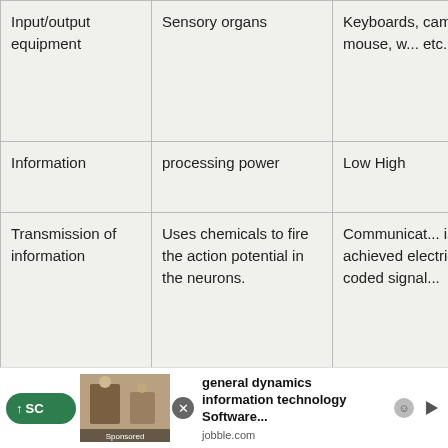| Input/output equipment | Sensory organs | Keyboards, cameras, mouse, w... etc. |
| Information | processing power | Low High |
| Transmission of information | Uses chemicals to fire the action potential in the neurons. | Communicat... is achieved electrical coded signal... |
| Size and weight | The volume of the brain is 1500 cm3, and its weight is | Variable wei... and size fron few grams |
[Figure (other): Advertisement banner at bottom: scroll-to-top button, sponsored image thumbnail, close button, ad text 'general dynamics information technology Software...' from jobble.com, with ad icons]